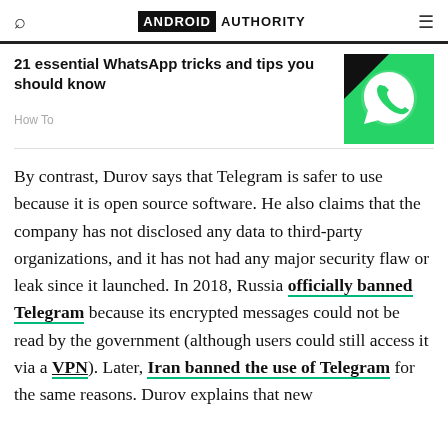ANDROID AUTHORITY
21 essential WhatsApp tricks and tips you should know
How To
[Figure (photo): WhatsApp logo icon on green and black background]
By contrast, Durov says that Telegram is safer to use because it is open source software. He also claims that the company has not disclosed any data to third-party organizations, and it has not had any major security flaw or leak since it launched. In 2018, Russia officially banned Telegram because its encrypted messages could not be read by the government (although users could still access it via a VPN). Later, Iran banned the use of Telegram for the same reasons. Durov explains that new